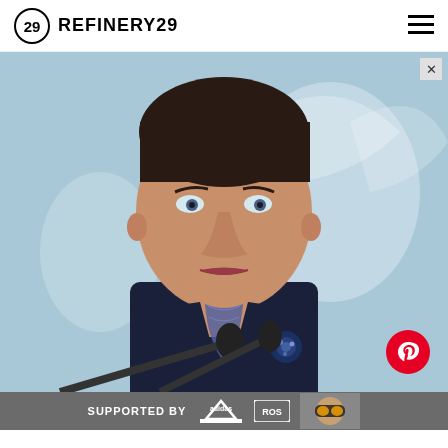REFINERY29
[Figure (photo): Close-up portrait of a woman in a dark navy blazer with a decorative blue brooch and a blue patterned scarf, standing at microphones against a light blue background with a white eagle emblem. She has short dark hair and is looking slightly upward with a serious expression.]
The w [SUPPORTED BY adidas ROS] r than